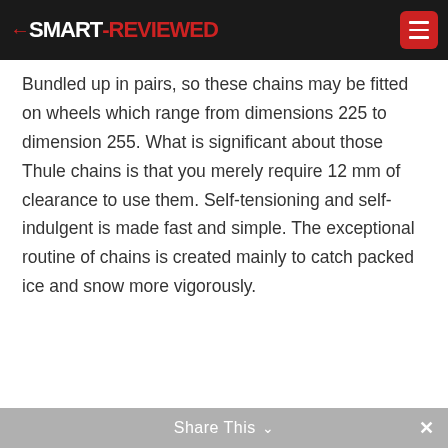SMART REVIEWED
Bundled up in pairs, so these chains may be fitted on wheels which range from dimensions 225 to dimension 255. What is significant about those Thule chains is that you merely require 12 mm of clearance to use them. Self-tensioning and self-indulgent is made fast and simple. The exceptional routine of chains is created mainly to catch packed ice and snow more vigorously.
Share This ✕